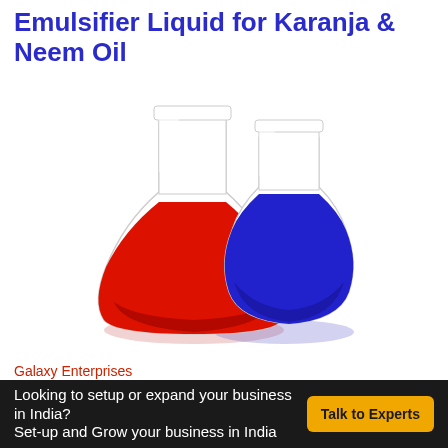Emulsifier Liquid for Karanja & Neem Oil
[Figure (photo): Two laboratory conical flasks (Erlenmeyer flasks), one filled with red liquid and one with blue liquid, on a reflective white surface]
Galaxy Enterprises
Hyderabad
Looking to setup or expand your business in India? Set-up and Grow your business in India  Talk to Experts